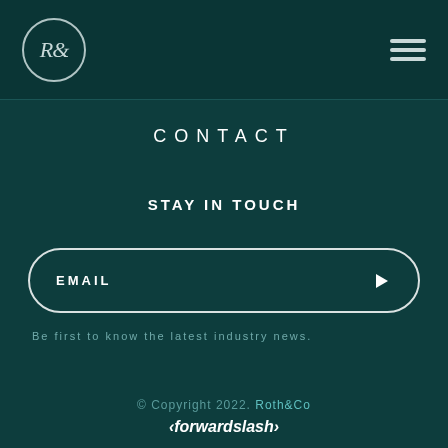R& [logo] [hamburger menu]
CONTACT
STAY IN TOUCH
EMAIL
Be first to know the latest industry news.
© Copyright 2022. Roth&Co
‹forwardslash›